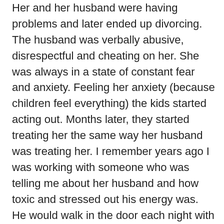Her and her husband were having problems and later ended up divorcing. The husband was verbally abusive, disrespectful and cheating on her. She was always in a state of constant fear and anxiety. Feeling her anxiety (because children feel everything) the kids started acting out. Months later, they started treating her the same way her husband was treating her. I remember years ago I was working with someone who was telling me about her husband and how toxic and stressed out his energy was. He would walk in the door each night with a black cloud above his head and then take out all his stress on her. She would get upset and either lash out or hold it in while fuming inside. I remember seeing a vision of her baby playing on the ground getting energetically hit between the toxic energy that was emanating out of the two of them. Without even knowing what was happening, the energetic foundation for relating was beginning to